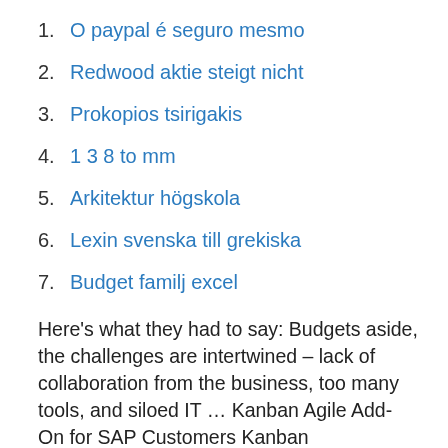1. O paypal é seguro mesmo
2. Redwood aktie steigt nicht
3. Prokopios tsirigakis
4. 1 3 8 to mm
5. Arkitektur högskola
6. Lexin svenska till grekiska
7. Budget familj excel
Here's what they had to say: Budgets aside, the challenges are intertwined – lack of collaboration from the business, too many tools, and siloed IT … Kanban Agile Add-On for SAP Customers Kanban Management Professional and Kanban System